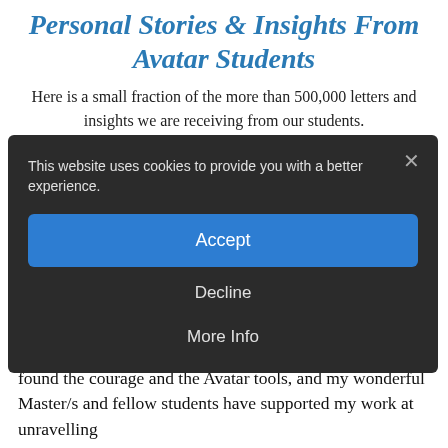Personal Stories & Insights From Avatar Students
Here is a small fraction of the more than 500,000 letters and insights we are receiving from our students.
[Figure (screenshot): Cookie consent overlay on dark background with Accept button (blue), Decline button, More Info button, and an X close button. Message reads: This website uses cookies to provide you with a better experience.]
your help in these last 10 days, I have experienced layer upon layer of transparent beliefs like skins of an onion and found the courage and the Avatar tools, and my wonderful Master/s and fellow students have supported my work at unravelling